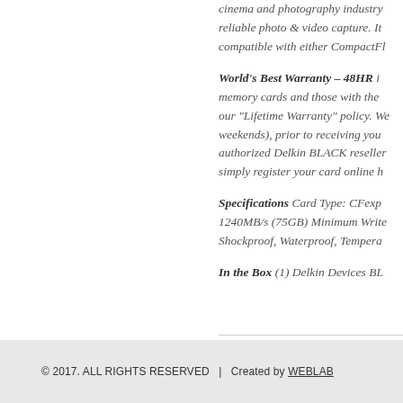cinema and photography industry for reliable photo & video capture. It is compatible with either CompactFl...
World's Best Warranty – 48HR ... memory cards and those with the... our "Lifetime Warranty" policy. We... weekends), prior to receiving you... authorized Delkin BLACK reselle... simply register your card online h...
Specifications Card Type: CFexp... 1240MB/s (75GB) Minimum Write... Shockproof, Waterproof, Tempera...
In the Box (1) Delkin Devices BL...
© 2017. ALL RIGHTS RESERVED   |   Created by WEBLAB